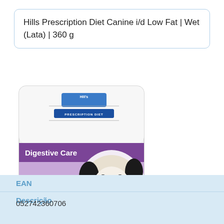Hills Prescription Diet Canine i/d Low Fat | Wet (Lata) | 360 g
[Figure (photo): Product image of Hill's Prescription Diet Canine i/d Digestive Care dog food bag, showing a border collie dog and purple/white packaging with 'i/d' branding.]
| EAN | Descrição |
| --- | --- |
| 052742360706 |  |